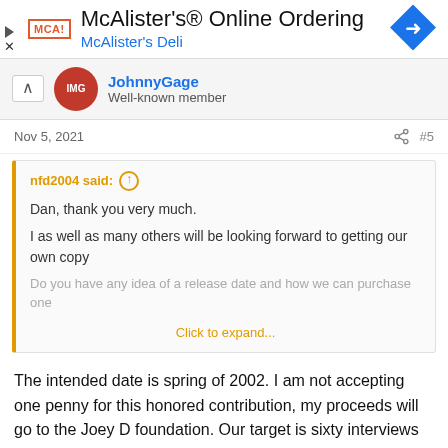[Figure (screenshot): Advertisement banner for McAlister's Online Ordering / McAlister's Deli with logo and navigation icon]
JohnnyGage
Well-known member
Nov 5, 2021  #5
nfd2004 said:
Dan, thank you very much.

I as well as many others will be looking forward to getting our own copy

Do you have any idea of a release date and how we can purchase one

Click to expand...
The intended date is spring of 2002. I am not accepting one penny for this honored contribution, my proceeds will go to the Joey D foundation. Our target is sixty interviews with snaps,